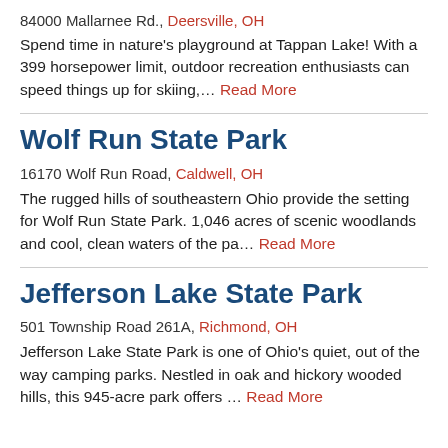84000 Mallarnee Rd., Deersville, OH
Spend time in nature's playground at Tappan Lake! With a 399 horsepower limit, outdoor recreation enthusiasts can speed things up for skiing,… Read More
Wolf Run State Park
16170 Wolf Run Road, Caldwell, OH
The rugged hills of southeastern Ohio provide the setting for Wolf Run State Park. 1,046 acres of scenic woodlands and cool, clean waters of the pa… Read More
Jefferson Lake State Park
501 Township Road 261A, Richmond, OH
Jefferson Lake State Park is one of Ohio's quiet, out of the way camping parks. Nestled in oak and hickory wooded hills, this 945-acre park offers … Read More